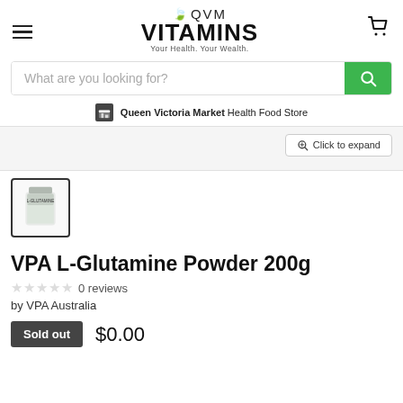[Figure (logo): QVM Vitamins logo with green leaf, bold VITAMINS text, tagline 'Your Health. Your Wealth.']
[Figure (screenshot): Search bar with placeholder 'What are you looking for?' and green search button]
Queen Victoria Market Health Food Store
[Figure (screenshot): Click to expand button on grey background]
[Figure (photo): Thumbnail of VPA L-Glutamine Powder 200g product container]
VPA L-Glutamine Powder 200g
0 reviews
by VPA Australia
Sold out  $0.00